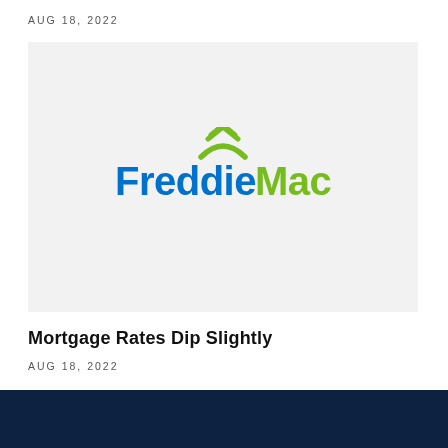AUG 18, 2022
[Figure (logo): Freddie Mac logo with green house roof icon above the text. 'Freddie' in blue, 'Mac' in green.]
Mortgage Rates Dip Slightly
AUG 18, 2022